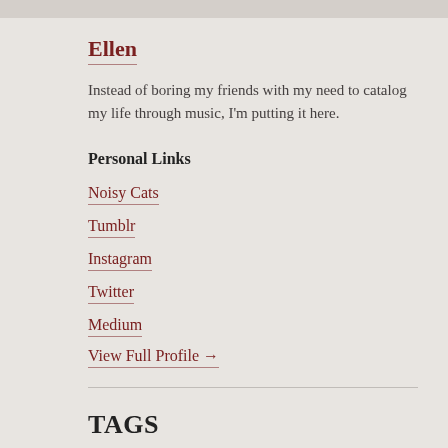Ellen
Instead of boring my friends with my need to catalog my life through music, I'm putting it here.
Personal Links
Noisy Cats
Tumblr
Instagram
Twitter
Medium
View Full Profile →
TAGS